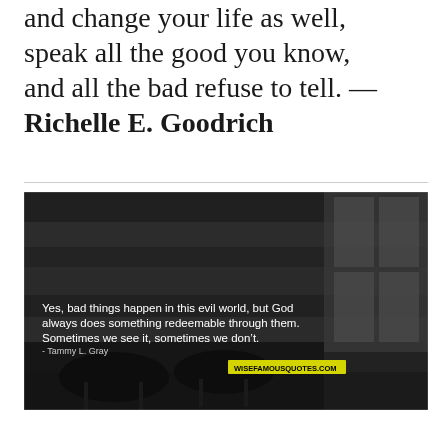and change your life as well, speak all the good you know, and all the bad refuse to tell. — Richelle E. Goodrich
[Figure (photo): Dark black-and-white photo of outdoor chairs on a porch with a quote overlay: 'Yes, bad things happen in this evil world, but God always does something redeemable through them. Sometimes we see it, sometimes we don't. - Tammy L. Gray' with wisefamousquotes.com watermark]
Yes, bad things happen in this evil